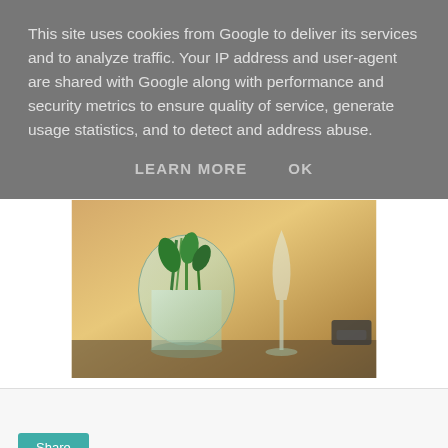This site uses cookies from Google to deliver its services and to analyze traffic. Your IP address and user-agent are shared with Google along with performance and security metrics to ensure quality of service, generate usage statistics, and to detect and address abuse.
LEARN MORE    OK
[Figure (photo): Photo of a glass jar with green plants/flowers and a wine glass on a wooden table]
Share
THURSDAY, 1 MAY 2014
Living Aware 17/52